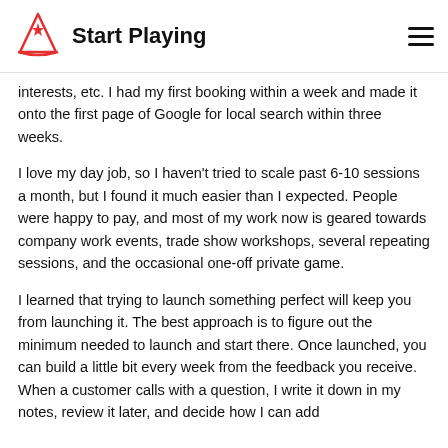Start Playing
interests, etc. I had my first booking within a week and made it onto the first page of Google for local search within three weeks.
I love my day job, so I haven't tried to scale past 6-10 sessions a month, but I found it much easier than I expected. People were happy to pay, and most of my work now is geared towards company work events, trade show workshops, several repeating sessions, and the occasional one-off private game.
I learned that trying to launch something perfect will keep you from launching it. The best approach is to figure out the minimum needed to launch and start there. Once launched, you can build a little bit every week from the feedback you receive. When a customer calls with a question, I write it down in my notes, review it later, and decide how I can add